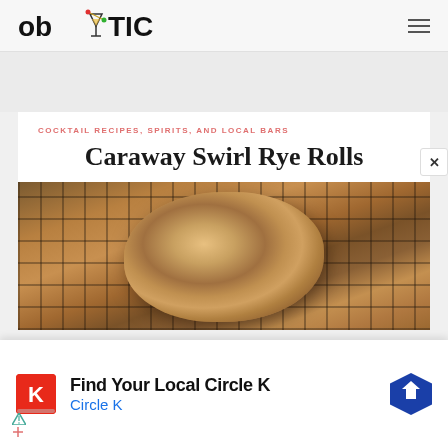[Figure (logo): ob with martini glass icon and TIC text logo in black bold font]
COCKTAIL RECIPES, SPIRITS, AND LOCAL BARS
Caraway Swirl Rye Rolls
[Figure (photo): Close-up photo of a caraway swirl rye roll on a cooling rack, showing golden-brown swirled bread texture]
[Figure (infographic): Advertisement banner: Find Your Local Circle K with Circle K logo (red background with K), Circle K text in blue, and blue hexagon navigation arrow icon]